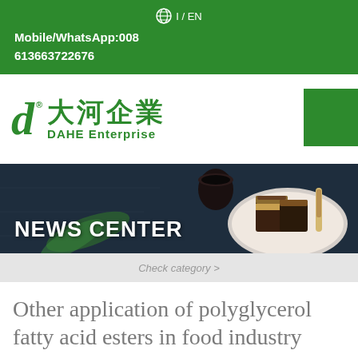Mobile/WhatsApp:008 613663722676
[Figure (logo): DAHE Enterprise logo with Chinese characters 大河企業 and green stylized D mark with registered trademark symbol]
[Figure (photo): NEWS CENTER banner with dark blue background showing chocolate cake slices on a plate and green foliage]
Check category >
Other application of polyglycerol fatty acid esters in food industry